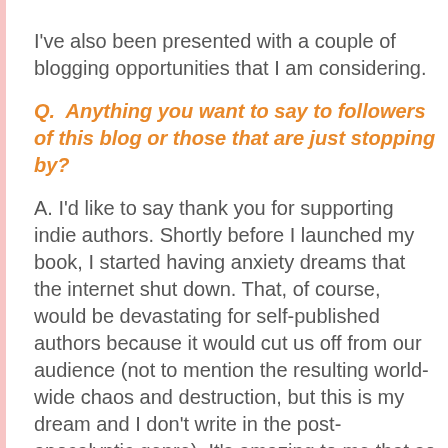I've also been presented with a couple of blogging opportunities that I am considering.
Q.  Anything you want to say to followers of this blog or those that are just stopping by?
A. I'd like to say thank you for supporting indie authors. Shortly before I launched my book, I started having anxiety dreams that the internet shut down. That, of course, would be devastating for self-published authors because it would cut us off from our audience (not to mention the resulting world-wide chaos and destruction, but this is my dream and I don't write in the post-apocalyptic genre). It's amazing to me that so many book lovers have embraced new technology in a way that enables writers to just put it out there and let the chips fall where they may.